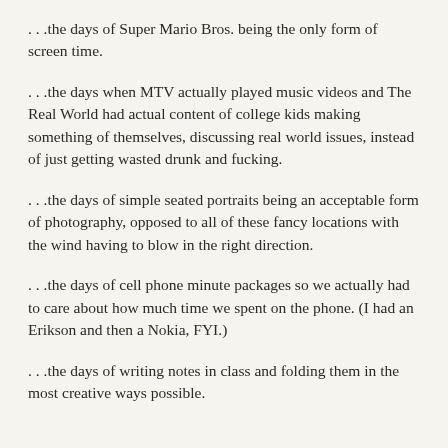. . .the days of Super Mario Bros. being the only form of screen time.
. . .the days when MTV actually played music videos and The Real World had actual content of college kids making something of themselves, discussing real world issues, instead of just getting wasted drunk and fucking.
. . .the days of simple seated portraits being an acceptable form of photography, opposed to all of these fancy locations with the wind having to blow in the right direction.
. . .the days of cell phone minute packages so we actually had to care about how much time we spent on the phone. (I had an Erikson and then a Nokia, FYI.)
. . .the days of writing notes in class and folding them in the most creative ways possible.